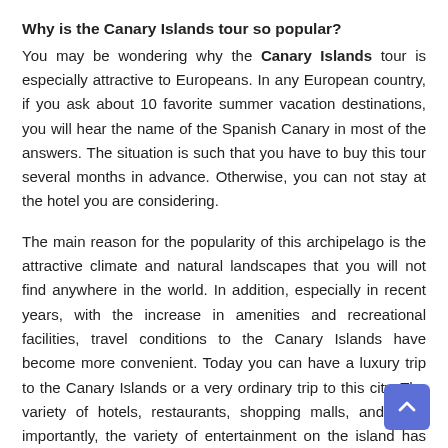Why is the Canary Islands tour so popular?
You may be wondering why the Canary Islands tour is especially attractive to Europeans. In any European country, if you ask about 10 favorite summer vacation destinations, you will hear the name of the Spanish Canary in most of the answers. The situation is such that you have to buy this tour several months in advance. Otherwise, you can not stay at the hotel you are considering.
The main reason for the popularity of this archipelago is the attractive climate and natural landscapes that you will not find anywhere in the world. In addition, especially in recent years, with the increase in amenities and recreational facilities, travel conditions to the Canary Islands have become more convenient. Today you can have a luxury trip to the Canary Islands or a very ordinary trip to this city. The variety of hotels, restaurants, shopping malls, and most importantly, the variety of entertainment on the island has made it possible to cater to different tastes with different cost capabilities.